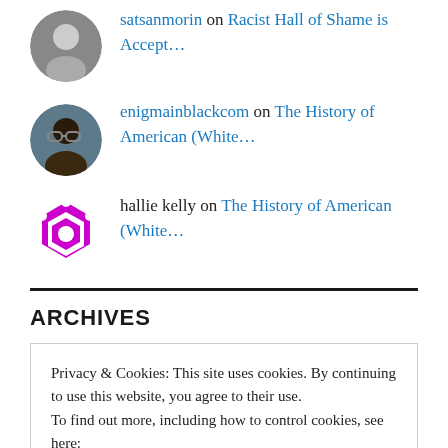satsanmorin on Racist Hall of Shame is Accept…
enigmainblackcom on The History of American (White…
hallie kelly on The History of American (White…
ARCHIVES
Privacy & Cookies: This site uses cookies. By continuing to use this website, you agree to their use.
To find out more, including how to control cookies, see here:
Cookie Policy
Close and accept
July 2019